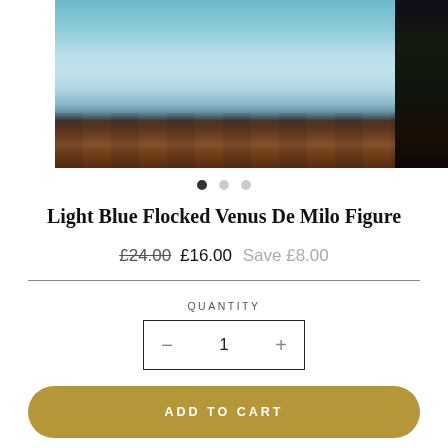[Figure (photo): Product photo of a light blue flocked Venus De Milo figure on a wooden surface, partially cropped, with a second image partially visible on the right edge]
● ○ ○
Light Blue Flocked Venus De Milo Figure
£24.00  £16.00  Save £8.00
QUANTITY
− 1 +
ADD TO CART
or 4 interest-free payments of £4.00 with clearpay ℹ